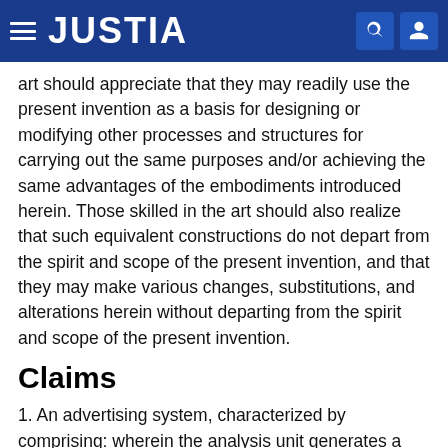JUSTIA
art should appreciate that they may readily use the present invention as a basis for designing or modifying other processes and structures for carrying out the same purposes and/or achieving the same advantages of the embodiments introduced herein. Those skilled in the art should also realize that such equivalent constructions do not depart from the spirit and scope of the present invention, and that they may make various changes, substitutions, and alterations herein without departing from the spirit and scope of the present invention.
Claims
1. An advertising system, characterized by comprising: wherein the analysis unit generates a user preference information according to the user feature information, the advertising recommendation information and the...